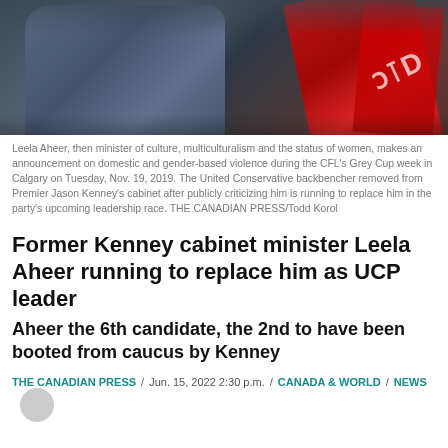[Figure (photo): Photo of Leela Aheer wearing a blue/grey knit jacket and a red CFL scarf, holding up her hand, taken at Grey Cup week in Calgary.]
Leela Aheer, then minister of culture, multiculturalism and the status of women, makes an announcement on domestic and gender-based violence during the CFL's Grey Cup week in Calgary on Tuesday, Nov. 19, 2019. The United Conservative backbencher removed from Premier Jason Kenney's cabinet after publicly criticizing him is running to replace him in the party's upcoming leadership race. THE CANADIAN PRESS/Todd Korol
Former Kenney cabinet minister Leela Aheer running to replace him as UCP leader
Aheer the 6th candidate, the 2nd to have been booted from caucus by Kenney
THE CANADIAN PRESS / Jun. 15, 2022 2:30 p.m. / CANADA & WORLD / NEWS